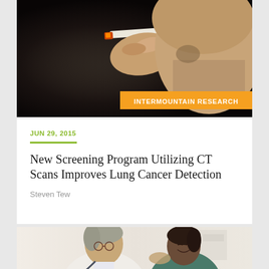[Figure (photo): Close-up photograph of a person holding a lit cigarette near their face against a dark background, with an orange banner overlay reading 'INTERMOUNTAIN RESEARCH']
JUN 29, 2015
New Screening Program Utilizing CT Scans Improves Lung Cancer Detection
Steven Tew
[Figure (photo): Photograph of a doctor in white coat with stethoscope consulting with a female patient in a clinical setting]